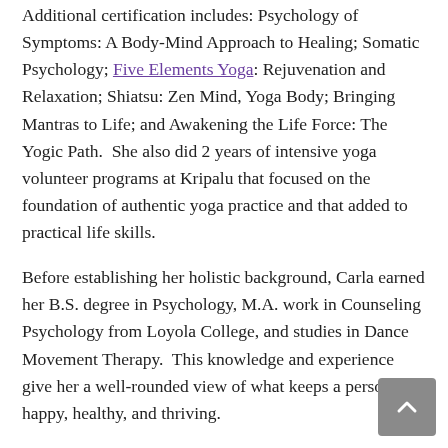Additional certification includes: Psychology of Symptoms: A Body-Mind Approach to Healing; Somatic Psychology; Five Elements Yoga: Rejuvenation and Relaxation; Shiatsu: Zen Mind, Yoga Body; Bringing Mantras to Life; and Awakening the Life Force: The Yogic Path.  She also did 2 years of intensive yoga volunteer programs at Kripalu that focused on the foundation of authentic yoga practice and that added to practical life skills.
Before establishing her holistic background, Carla earned her B.S. degree in Psychology, M.A. work in Counseling Psychology from Loyola College, and studies in Dance Movement Therapy.  This knowledge and experience give her a well-rounded view of what keeps a person happy, healthy, and thriving.